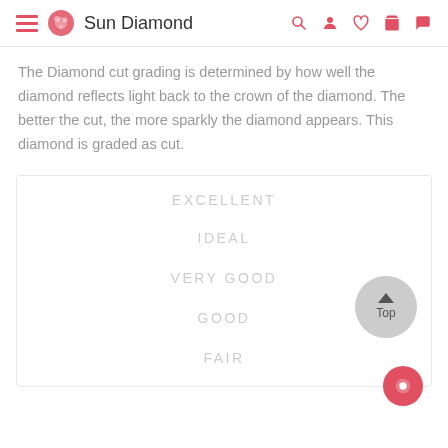Sun Diamond
The Diamond cut grading is determined by how well the diamond reflects light back to the crown of the diamond. The better the cut, the more sparkly the diamond appears. This diamond is graded as cut.
EXCELLENT
IDEAL
VERY GOOD
GOOD
FAIR